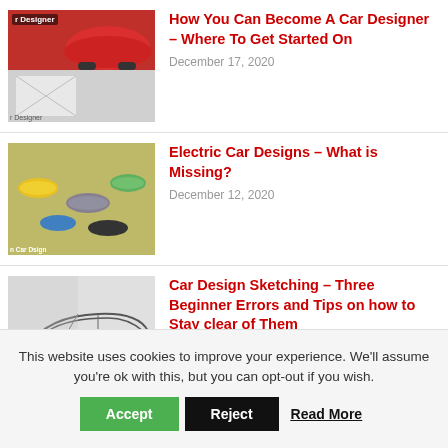[Figure (photo): Car designer blog thumbnail showing a red sports car and a sketching hand]
How You Can Become A Car Designer – Where To Get Started On
December 17, 2020
[Figure (photo): Multiple colorful model cars arranged on a surface]
Electric Car Designs – What is Missing?
December 12, 2020
[Figure (photo): Black and white sketch/render of a car design with open panels]
Car Design Sketching – Three Beginner Errors and Tips on how to Stay clear of Them
November 27, 2020
This website uses cookies to improve your experience. We'll assume you're ok with this, but you can opt-out if you wish.